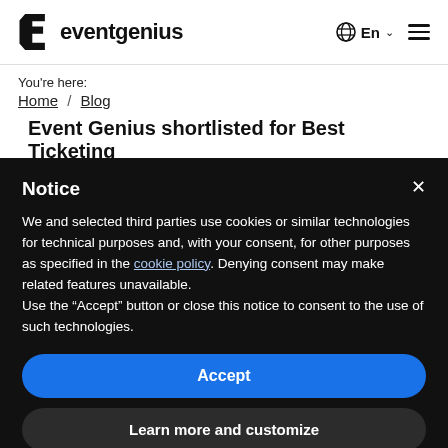eventgenius
You're here:
Home / Blog
Event Genius shortlisted for Best Ticketing
Notice
We and selected third parties use cookies or similar technologies for technical purposes and, with your consent, for other purposes as specified in the cookie policy. Denying consent may make related features unavailable.
Use the "Accept" button or close this notice to consent to the use of such technologies.
Accept
Learn more and customize